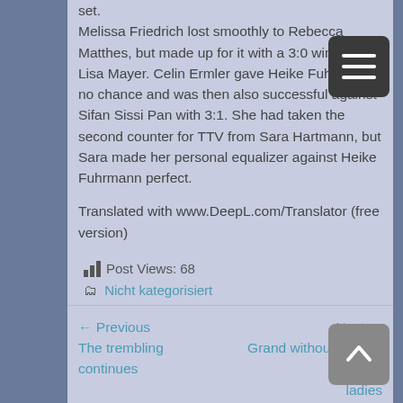set. Melissa Friedrich lost smoothly to Rebecca Matthes, but made up for it with a 3:0 win against Lisa Mayer. Celin Ermler gave Heike Fuhrmann no chance and was then also successful against Sifan Sissi Pan with 3:1. She had taken the second counter for TTV from Sara Hartmann, but Sara made her personal equalizer against Heike Fuhrmann perfect.
Translated with www.DeepL.com/Translator (free version)
Post Views: 68
Nicht kategorisiert
← Previous
The trembling continues
Next →
Grand without four for the ladies
Search